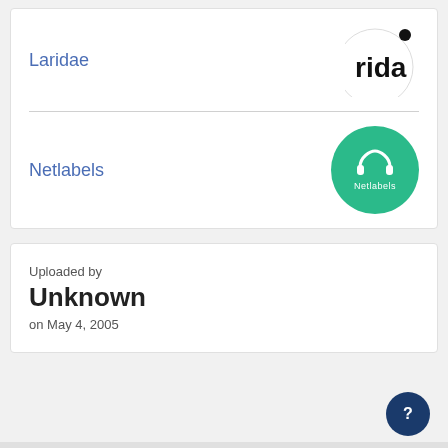Laridae
[Figure (logo): Partial white circle badge with black dot and partial text 'rida' visible]
Netlabels
[Figure (logo): Green circle badge with headphones icon and text 'Netlabels']
Uploaded by
Unknown
on May 4, 2005
[Figure (other): Dark navy blue circular help button with question mark icon]